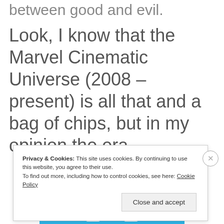between good and evil.
Look, I know that the Marvel Cinematic Universe (2008 – present) is all that and a bag of chips, but in my opinion the era
Privacy & Cookies: This site uses cookies. By continuing to use this website, you agree to their use.
To find out more, including how to control cookies, see here: Cookie Policy
Close and accept
[Figure (illustration): Blue banner with white icons at the bottom of the page]